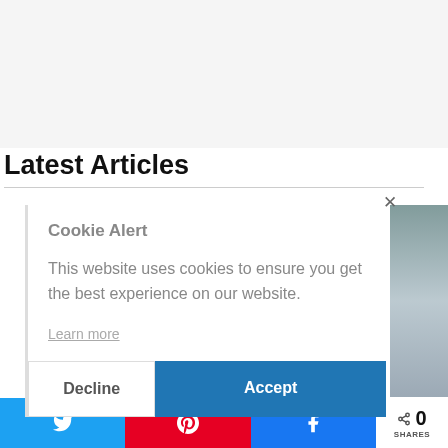Latest Articles
Cookie Alert
This website uses cookies to ensure you get the best experience on our website.
Learn more
Decline
Accept
0 SHARES